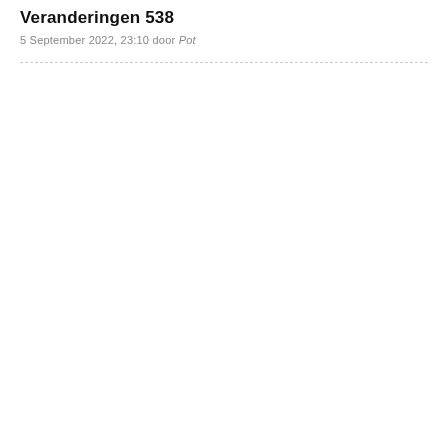Veranderingen 538
5 September 2022, 23:10 door Pot